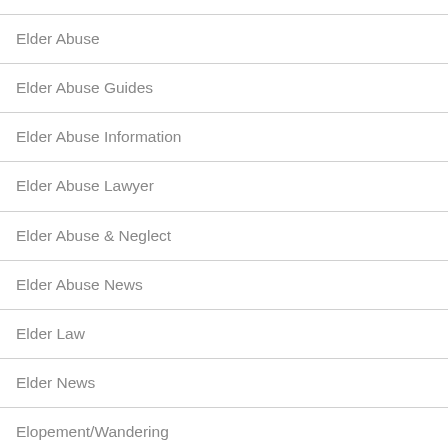Elder Abuse
Elder Abuse Guides
Elder Abuse Information
Elder Abuse Lawyer
Elder Abuse & Neglect
Elder Abuse News
Elder Law
Elder News
Elopement/Wandering
Falls
Financial Elder Abuse